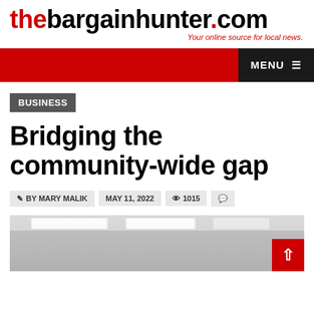thebargainhunter.com — Your online source for local news.
BUSINESS
Bridging the community-wide gap
BY MARY MALIK  MAY 11, 2022  1015
[Figure (photo): Interior room with ceiling lights, white ceiling panels and recessed lighting]